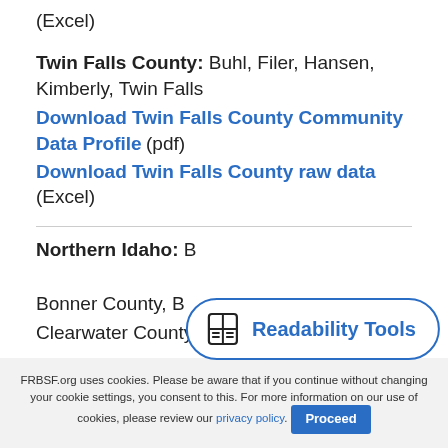(Excel)
Twin Falls County: Buhl, Filer, Hansen, Kimberly, Twin Falls
Download Twin Falls County Community Data Profile (pdf)
Download Twin Falls County raw data (Excel)
Northern Idaho: B...
Bonner County, B...
Clearwater County, Idaho County, Latah
[Figure (other): Readability Tools floating widget with book icon and label]
FRBSF.org uses cookies. Please be aware that if you continue without changing your cookie settings, you consent to this. For more information on our use of cookies, please review our privacy policy. Proceed